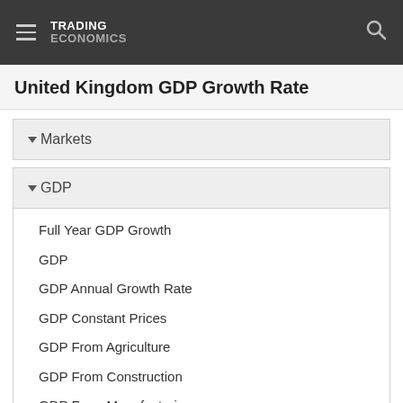TRADING ECONOMICS
United Kingdom GDP Growth Rate
Markets
GDP
Full Year GDP Growth
GDP
GDP Annual Growth Rate
GDP Constant Prices
GDP From Agriculture
GDP From Construction
GDP From Manufacturing
GDP From Mining
GDP From Public Administration
GDP From Services
GDP From Transport
GDP Growth Rate